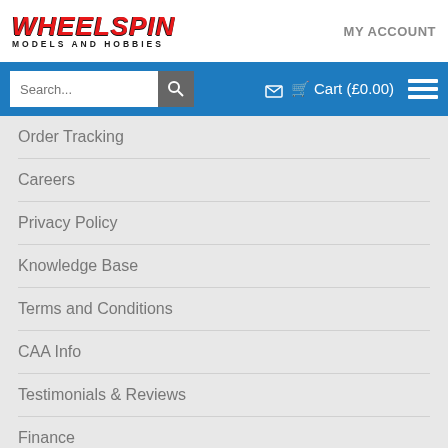WHEELSPIN MODELS AND HOBBIES | MY ACCOUNT
Order Tracking
Careers
Privacy Policy
Knowledge Base
Terms and Conditions
CAA Info
Testimonials & Reviews
Finance
Sustainability
Manuals & Exploded Views
PayPal Credit and PayPal Pay in 3 are trading names of PayPal (Europe) S.à r.l. et Cie,